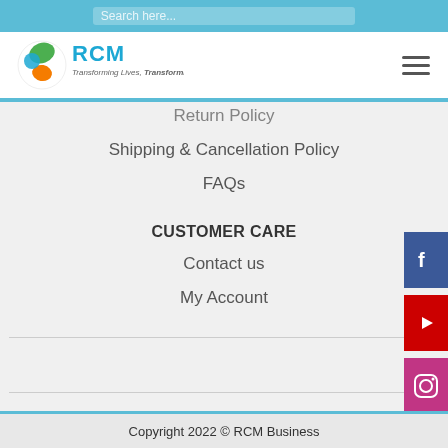Search here...
[Figure (logo): RCM logo with circular green/orange icon and text 'RCM Transforming Lives, Transforming India']
Return Policy
Shipping & Cancellation Policy
FAQs
CUSTOMER CARE
Contact us
My Account
Copyright 2022 © RCM Business